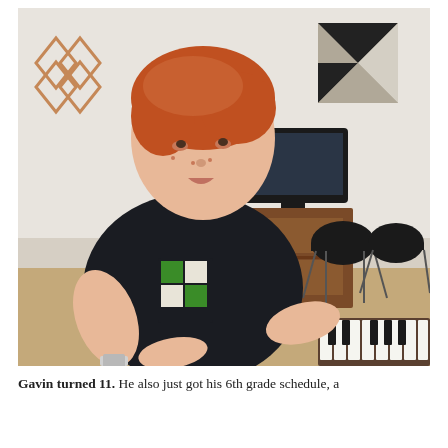[Figure (photo): A red-haired boy, approximately 11 years old, wearing a black t-shirt with a green and white graphic design, playing a piano/keyboard. He is looking down at the keys. In the background there is a wood dresser with a TV on top, two black modern chairs, decorative wall art, and a hardwood floor. The image has a slightly desaturated/instagram-style filter.]
Gavin turned 11. He also just got his 6th grade schedule, a